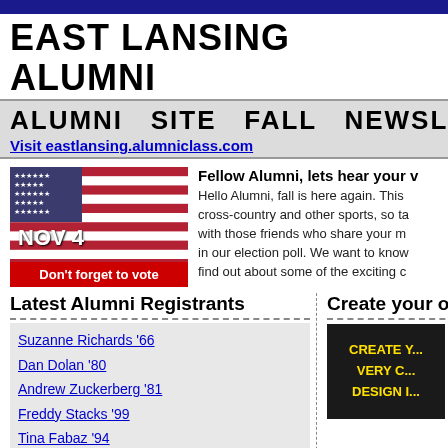EAST LANSING ALUMNI
ALUMNI SITE FALL NEWSLETTER
Visit eastlansing.alumniclass.com
[Figure (photo): American flag with text: NOV 4, Don't forget to vote]
Fellow Alumni, lets hear your v... Hello Alumni, fall is here again. This cross-country and other sports, so ta with those friends who share your m in our election poll. We want to kno find out about some of the exciting c
Latest Alumni Registrants
Suzanne Richards '66
Dan Dolan '80
Andrew Zuckerberg '81
Freddy Stacks '99
Tina Fabaz '94
Bill Docksey '70
keesha anderson '92
Michael Ngugi '99
Create your own
[Figure (photo): Black t-shirt with yellow text: CREATE Y... VERY C... DESIGN I...]